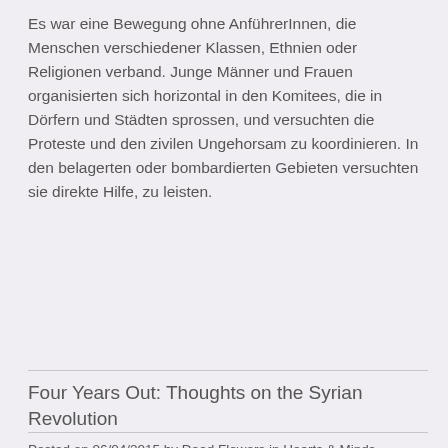Es war eine Bewegung ohne AnführerInnen, die Menschen verschiedener Klassen, Ethnien oder Religionen verband. Junge Männer und Frauen organisierten sich horizontal in den Komitees, die in Dörfern und Städten sprossen, und versuchten die Proteste und den zivilen Ungehorsam zu koordinieren. In den belagerten oder bombardierten Gebieten versuchten sie direkte Hilfe, zu leisten.
Continue Reading
Four Years Out: Thoughts on the Syrian Revolution
Posted on 06/04/2015 by Dead Flowers in Hearts & Minds, People's History, War & Violence and tagged Leila Al Shami, Syria, Tahrir-ICN.